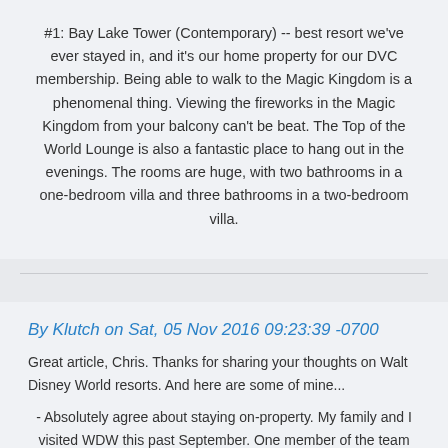#1: Bay Lake Tower (Contemporary) -- best resort we've ever stayed in, and it's our home property for our DVC membership. Being able to walk to the Magic Kingdom is a phenomenal thing. Viewing the fireworks in the Magic Kingdom from your balcony can't be beat. The Top of the World Lounge is also a fantastic place to hang out in the evenings. The rooms are huge, with two bathrooms in a one-bedroom villa and three bathrooms in a two-bedroom villa.
By Klutch on Sat, 05 Nov 2016 09:23:39 -0700
Great article, Chris. Thanks for sharing your thoughts on Walt Disney World resorts. And here are some of mine...
- Absolutely agree about staying on-property. My family and I visited WDW this past September. One member of the team insisted on staying off-property. He was convinced we'd save money. No matter how many ways